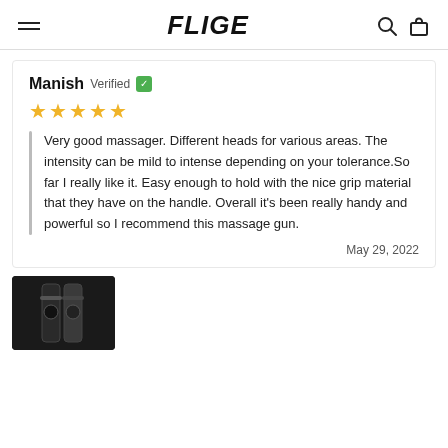FLIGE
Manish Verified
★★★★★
Very good massager. Different heads for various areas. The intensity can be mild to intense depending on your tolerance.So far I really like it. Easy enough to hold with the nice grip material that they have on the handle. Overall it's been really handy and powerful so I recommend this massage gun.
May 29, 2022
[Figure (photo): Product photo of a massage gun in dark setting]